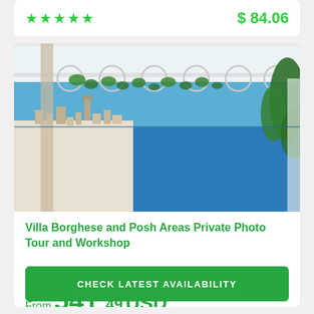★★★★★   $ 84.06
[Figure (photo): View through a white metal pergola with hanging vines and decorative circular metalwork, looking out over a coastal Italian town (Amalfi/Positano area) with blue sea and sky, trees on the right.]
Villa Borghese and Posh Areas Private Photo Tour and Workshop
Rome, Italy
From 541.49 USD
CHECK LATEST AVAILABILITY